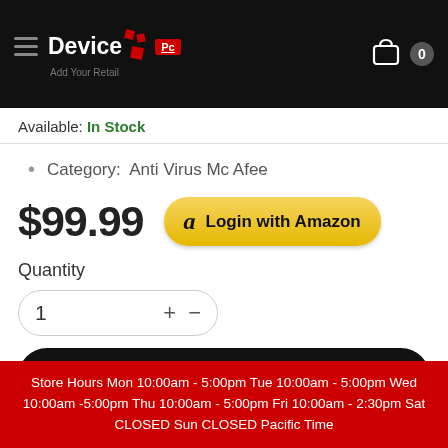Device: [logo with squares] Pc | Add Your Retail | Cart: 0
Available: In Stock
Category:  Anti Virus Mc Afee
$99.99
[Figure (other): Login with Amazon button]
Quantity
1
Add to cart
Store Hours Mon 10:00am - 5:00pm Tue 10:00am - 5:00pm Wed 10:00am -5:00pm Thu 10:00am - 5:00pm Fri 10:00am - 2:30pm Sat CLOSED Sun CLOSED Pacific Time